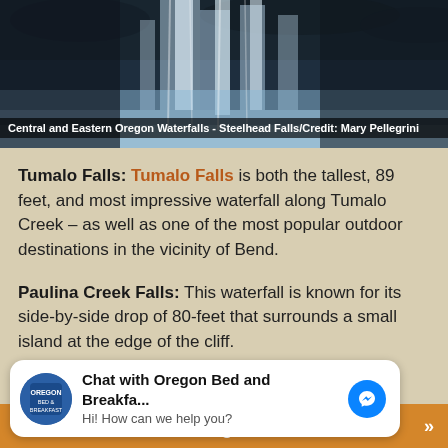[Figure (photo): Waterfall photo showing Central and Eastern Oregon Waterfalls - Steelhead Falls]
Central and Eastern Oregon Waterfalls - Steelhead Falls/Credit: Mary Pellegrini
Tumalo Falls: Tumalo Falls is both the tallest, 89 feet, and most impressive waterfall along Tumalo Creek – as well as one of the most popular outdoor destinations in the vicinity of Bend.
Paulina Creek Falls: This waterfall is known for its side-by-side drop of 80-feet that surrounds a small island at the edge of the cliff.
[Figure (screenshot): Chat widget: Chat with Oregon Bed and Breakfa... Hi! How can we help you?]
f  t  g+  mail  >>